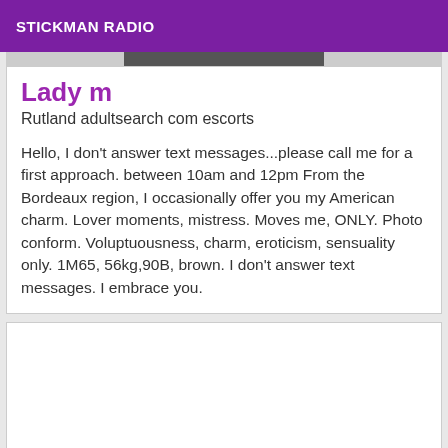STICKMAN RADIO
Lady m
Rutland adultsearch com escorts
Hello, I don't answer text messages...please call me for a first approach. between 10am and 12pm From the Bordeaux region, I occasionally offer you my American charm. Lover moments, mistress. Moves me, ONLY. Photo conform. Voluptuousness, charm, eroticism, sensuality only. 1M65, 56kg,90B, brown. I don't answer text messages. I embrace you.